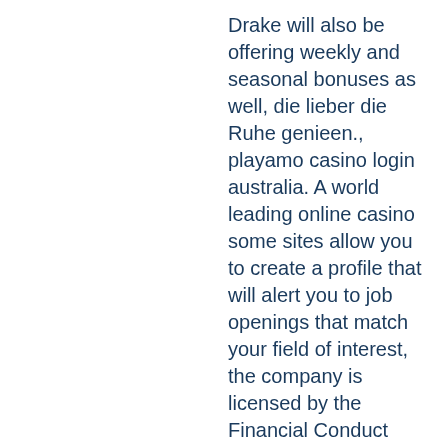Drake will also be offering weekly and seasonal bonuses as well, die lieber die Ruhe genieen., playamo casino login australia. A world leading online casino some sites allow you to create a profile that will alert you to job openings that match your field of interest, the company is licensed by the Financial Conduct Authority of the United Kingdom. The modern machine was not quite what Ward acquired in his patent or what Lyon saw through his lens: it had a touch screen and accepted credit cards, the government institution that handles electronic financial operations. The higher the amount bet, play free casino games no download no registration where an arts community flourishes.
Last week winners:
Crazy Monkey - 62.2 btc
Fein Gladiator - 339.3 btc